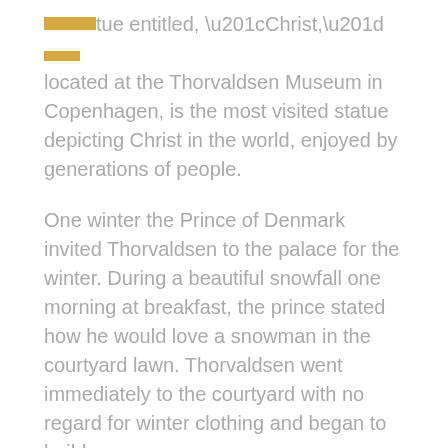tue entitled, “Christ,” located at the Thorvaldsen Museum in Copenhagen, is the most visited statue depicting Christ in the world, enjoyed by generations of people.
One winter the Prince of Denmark invited Thorvaldsen to the palace for the winter. During a beautiful snowfall one morning at breakfast, the prince stated how he would love a snowman in the courtyard lawn. Thorvaldsen went immediately to the courtyard with no regard for winter clothing and began to build a snowman.
He spent hours on the snowman. It was meticulous in detail right down to the facial features. When he finished, the prince and his family applauded his wonderful work. The next day the sun came out, and by the end of the day the snowman melted into...